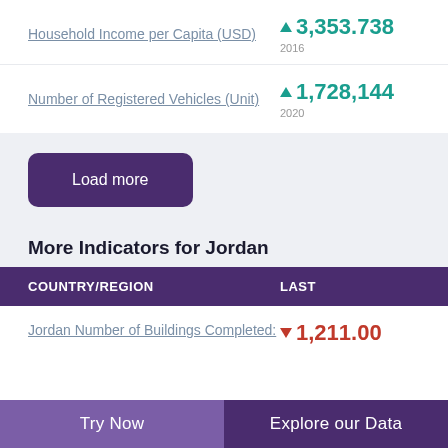Household Income per Capita (USD)
▲ 3,353.738 2016
Number of Registered Vehicles (Unit)
▲ 1,728,144 2020
Load more
More Indicators for Jordan
| COUNTRY/REGION | LAST |
| --- | --- |
| Jordan Number of Buildings Completed: | ▼ 1,211.00 |
Try Now | Explore our Data